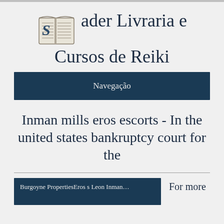[Figure (logo): Sader Livraria e Cursos de Reiki logo with an open book icon and stylized text]
Navegação
Inman mills eros escorts - In the united states bankruptcy court for the
Burgoyne PropertiesEros s Leon Inman
For more